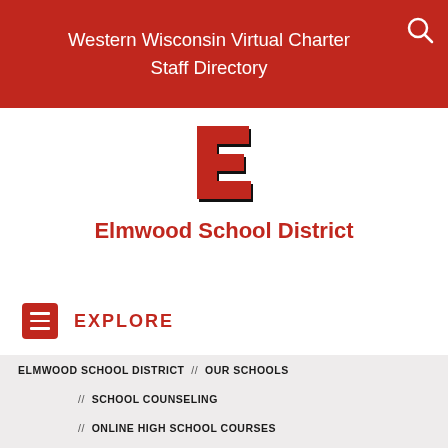Western Wisconsin Virtual Charter
Staff Directory
[Figure (logo): Elmwood School District logo - stylized red letter E]
Elmwood School District
EXPLORE
ELMWOOD SCHOOL DISTRICT // OUR SCHOOLS // SCHOOL COUNSELING // ONLINE HIGH SCHOOL COURSES